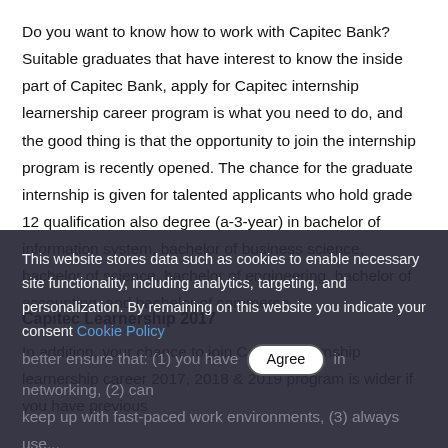Do you want to know how to work with Capitec Bank? Suitable graduates that have interest to know the inside part of Capitec Bank, apply for Capitec internship learnership career program is what you need to do, and the good thing is that the opportunity to join the internship program is recently opened. The chance for the graduate internship is given for talented applicants who hold grade 12 qualification also degree (a-3-year) in bachelor of information system, bachelor of business science, bachelor of science, bachelor of engineering, bachelor of accounting, and bachelor of commerce.
Capitec Learnership 2017
In addition, your chance to join Capitec internship learnership career 2017, 2018 & 2019 program is wider if you have previous
This website stores data such as cookies to enable necessary site functionality, including analytics, targeting, and personalization. By remaining on this website you indicate your consent Cookie Policy
better ensure that: (1) you have skills in networking, (2) can keep up with fast-paced work environments, (3) always use...